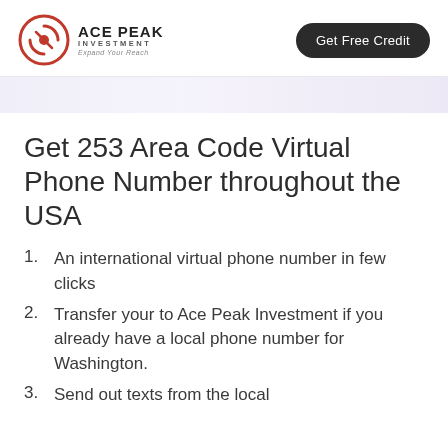ACE PEAK INVESTMENT | Expand Your Reach | Get Free Credit
Get 253 Area Code Virtual Phone Number throughout the USA
An international virtual phone number in few clicks
Transfer your to Ace Peak Investment if you already have a local phone number for Washington.
Send out texts from the local